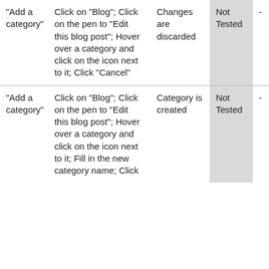| "Add a category" | Click on "Blog"; Click on the pen to "Edit this blog post"; Hover over a category and click on the icon next to it; Click "Cancel" | Changes are discarded | Not Tested | - |
| "Add a category" | Click on "Blog"; Click on the pen to "Edit this blog post"; Hover over a category and click on the icon next to it; Fill in the new category name; Click | Category is created | Not Tested | - |